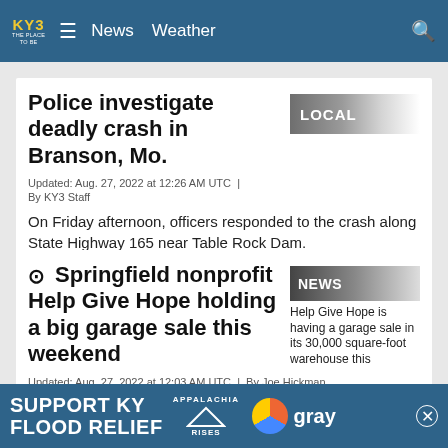KY3 THE PLACE TO BE — News  Weather
Police investigate deadly crash in Branson, Mo.
Updated: Aug. 27, 2022 at 12:26 AM UTC  |  By KY3 Staff
On Friday afternoon, officers responded to the crash along State Highway 165 near Table Rock Dam.
▶ Springfield nonprofit Help Give Hope holding a big garage sale this weekend
Updated: Aug. 27, 2022 at 12:03 AM UTC  |  By Joe Hickman
Help Give Hope, a Springfield non-profit that helps financ... having a big fu... 000
[Figure (screenshot): Ad banner: SUPPORT KY FLOOD RELIEF with Appalachia Rises and gray logos]